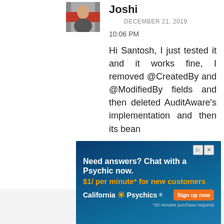[Figure (photo): Avatar/profile photo thumbnail of user Joshi, showing a person with a flag background]
Joshi
DECEMBER 21, 2019
10:06 PM
Hi Santosh, I just tested it and it works fine, I removed @CreatedBy and @ModifiedBy fields and then deleted AuditAware's implementation and then its bean
[Figure (screenshot): Advertisement banner: Need answers? Chat with a Psychic now. $1/ per minute* for new customers. California Psychics logo with Sign up now button. *20 minutes purchase required]